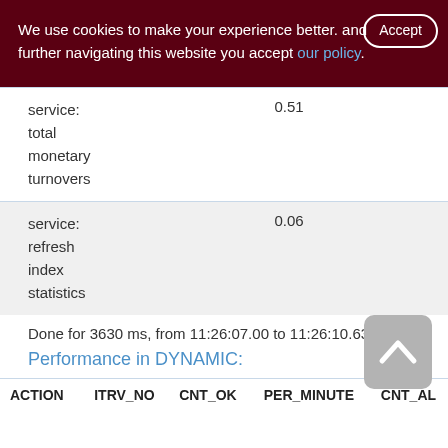We use cookies to make your experience better. By accepting and further navigating this website you accept our policy.
|  |  |
| --- | --- |
| service: total monetary turnovers | 0.51 |
| service: refresh index statistics | 0.06 |
Done for 3630 ms, from 11:26:07.00 to 11:26:10.63
Performance in DYNAMIC:
| ACTION | ITRV_NO | CNT_OK | PER_MINUTE | CNT_AL |
| --- | --- | --- | --- | --- |